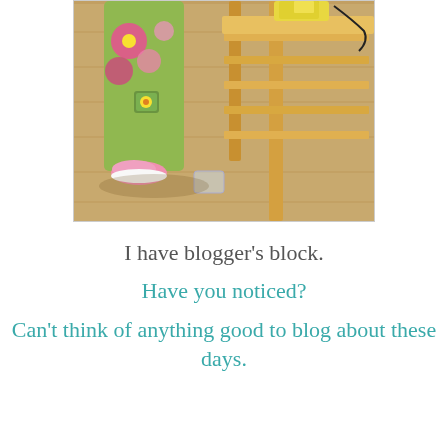[Figure (photo): A young child in colorful floral pants and pink shoes stands near a wooden rack/shelf on a wooden floor. On the shelf are yellow items including what appears to be a phone and containers.]
I have blogger's block.
Have you noticed?
Can't think of anything good to blog about these days.